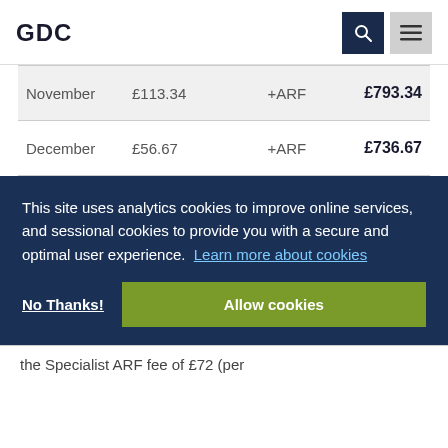GDC
| Month | Amount |  | Total |
| --- | --- | --- | --- |
| November | £113.34 | +ARF | £793.34 |
| December | £56.67 | +ARF | £736.67 |
This site uses analytics cookies to improve online services, and sessional cookies to provide you with a secure and optimal user experience. Learn more about cookies
No Thanks! | Allow cookies
the Specialist ARF fee of £72 (per